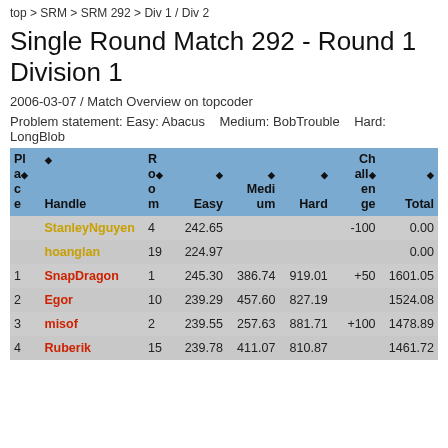top > SRM > SRM 292 > Div 1 / Div 2
Single Round Match 292 - Round 1 Division 1
2006-03-07 / Match Overview on topcoder
Problem statement: Easy: Abacus   Medium: BobTrouble   Hard: LongBlob
| Place | Handle | Room | Easy | Medium | Hard | Challenge | Total |
| --- | --- | --- | --- | --- | --- | --- | --- |
|  | StanleyNguyen | 4 | 242.65 |  |  | -100 | 0.00 |
|  | hoanglan | 19 | 224.97 |  |  |  | 0.00 |
| 1 | SnapDragon | 1 | 245.30 | 386.74 | 919.01 | +50 | 1601.05 |
| 2 | Egor | 10 | 239.29 | 457.60 | 827.19 |  | 1524.08 |
| 3 | misof | 2 | 239.55 | 257.63 | 881.71 | +100 | 1478.89 |
| 4 | Ruberik | 15 | 239.78 | 411.07 | 810.87 |  | 1461.72 |